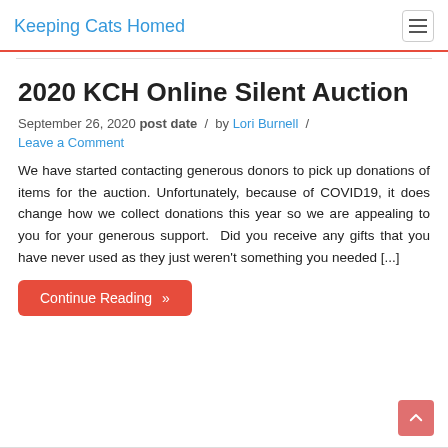Keeping Cats Homed
2020 KCH Online Silent Auction
September 26, 2020 post date / by Lori Burnell /
Leave a Comment
We have started contacting generous donors to pick up donations of items for the auction. Unfortunately, because of COVID19, it does change how we collect donations this year so we are appealing to you for your generous support.  Did you receive any gifts that you have never used as they just weren't something you needed [...]
Continue Reading »